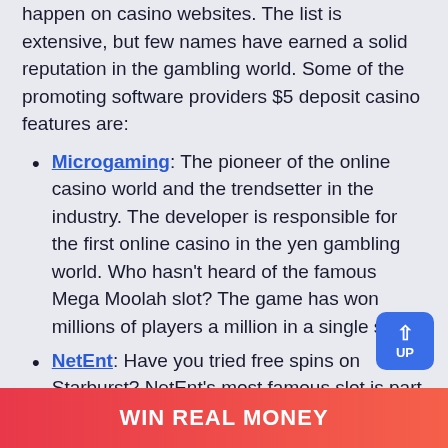happen on casino websites. The list is extensive, but few names have earned a solid reputation in the gambling world. Some of the promoting software providers $5 deposit casino features are:
Microgaming: The pioneer of the online casino world and the trendsetter in the industry. The developer is responsible for the first online casino in the yen gambling world. Who hasn't heard of the famous Mega Moolah slot? The game has won millions of players a million in a single spin.
NetEnt: Have you tried free spins on Starburst? NetEnt's most famous slot is part of many free spins offered because of its easy gameplay and low volatility. NetEnt earned a great reputation for its high-quality graphics slot titles and table games.
Play tech: More than 600 slots on its name. Playtech